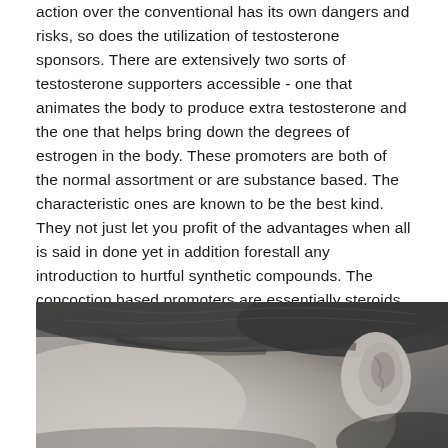action over the conventional has its own dangers and risks, so does the utilization of testosterone sponsors. There are extensively two sorts of testosterone supporters accessible - one that animates the body to produce extra testosterone and the one that helps bring down the degrees of estrogen in the body. These promoters are both of the normal assortment or are substance based. The characteristic ones are known to be the best kind. They not just let you profit of the advantages when all is said in done yet in addition forestall any introduction to hurtful synthetic compounds. The concoction based promoters are essentially steroids with hindering symptoms.
[Figure (photo): Black and white close-up photograph of the back/side of a man's head, showing the neck, ear, and short hair]